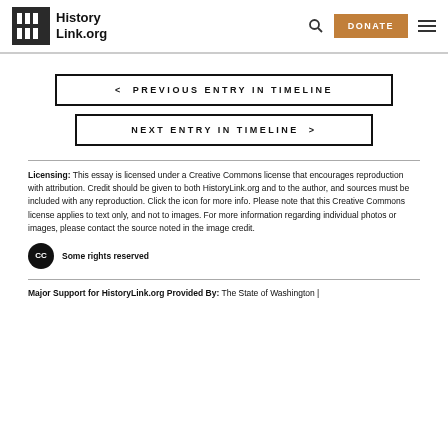HistoryLink.org | DONATE
< PREVIOUS ENTRY IN TIMELINE
NEXT ENTRY IN TIMELINE >
Licensing: This essay is licensed under a Creative Commons license that encourages reproduction with attribution. Credit should be given to both HistoryLink.org and to the author, and sources must be included with any reproduction. Click the icon for more info. Please note that this Creative Commons license applies to text only, and not to images. For more information regarding individual photos or images, please contact the source noted in the image credit.
Some rights reserved
Major Support for HistoryLink.org Provided By: The State of Washington |